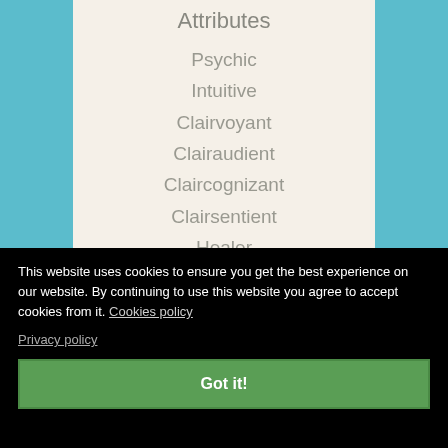Attributes
Psychic
Intuitive
Clairvoyant
Clairaudient
Claircognizant
Clairsentient
Healer
Empath
This website uses cookies to ensure you get the best experience on our website. By continuing to use this website you agree to accept cookies from it. Cookies policy
Privacy policy
Got it!
Lenormand